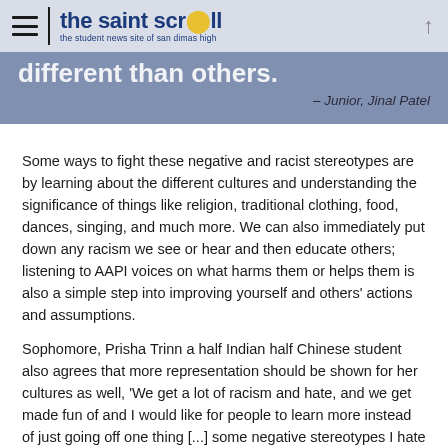the saint scroll — the student news site of san dimas high
different than others.
– Junior, Jinal Patel
Some ways to fight these negative and racist stereotypes are by learning about the different cultures and understanding the significance of things like religion, traditional clothing, food, dances, singing, and much more. We can also immediately put down any racism we see or hear and then educate others; listening to AAPI voices on what harms them or helps them is also a simple step into improving yourself and others' actions and assumptions.
Sophomore, Prisha Trinn a half Indian half Chinese student also agrees that more representation should be shown for her cultures as well, 'We get a lot of racism and hate, and we get made fun of and I would like for people to learn more instead of just going off one thing [...] some negative stereotypes I hate are the 'Chinese eats dogs' or that we came up with covid. One for Indian is I hate the way they